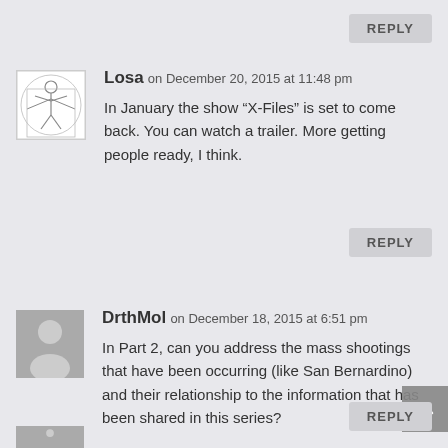REPLY
Losa on December 20, 2015 at 11:48 pm
In January the show “X-Files” is set to come back. You can watch a trailer. More getting people ready, I think.
REPLY
DrthMol on December 18, 2015 at 6:51 pm
In Part 2, can you address the mass shootings that have been occurring (like San Bernardino) and their relationship to the information that has been shared in this series?
REPLY